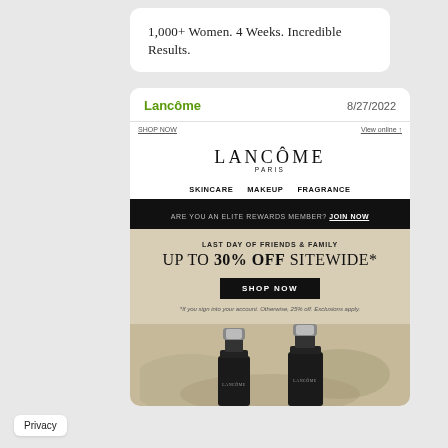1,000+ Women. 4 Weeks. Incredible Results.
Lancôme   8/27/2022
SHOP NOW
View online ↑
[Figure (logo): LANCÔME PARIS logo in serif font]
SKINCARE   MAKEUP   FRAGRANCE
ARE YOU AN ELITE REWARDS MEMBER? JOIN NOW
LAST DAY OF FRIENDS & FAMILY
UP TO 30% OFF SITEWIDE*
SHOP NOW
*If you sign into your account. Otherwise, 25% off. Exclusions apply.
[Figure (photo): Two Lancôme serum bottles with black caps and metallic tops on a blurred natural background]
Privacy